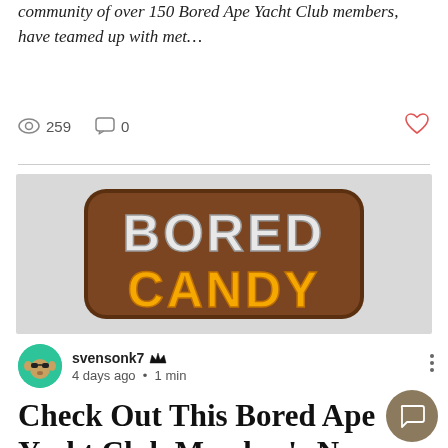community of over 150 Bored Ape Yacht Club members, have teamed up with met…
259 views · 0 comments · like
[Figure (logo): Bored Candy logo — stylized block letters spelling BORED in gray/white on top and CANDY in orange/yellow on bottom, with a dark brown rounded rectangular border, on a light gray background.]
svensonk7 · 4 days ago · 1 min
Check Out This Bored Ape Yacht Club Member's New Product, Bored Candy
After holding his Bored Apes since m… longtime Bored Ape Yacht Club member